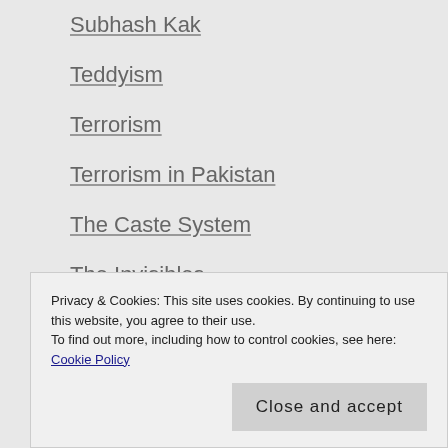Subhash Kak
Teddyism
Terrorism
Terrorism in Pakistan
The Caste System
The Invisibles
Turkey's Secularism under Threat
UN Peacekeepers
Uncategorized
United Nations
Privacy & Cookies: This site uses cookies. By continuing to use this website, you agree to their use. To find out more, including how to control cookies, see here: Cookie Policy
US / UK Civilization: Curry Houses